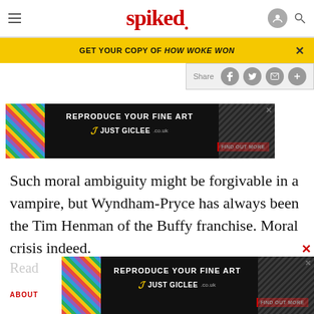spiked
GET YOUR COPY OF HOW WOKE WON
[Figure (screenshot): Share bar with social media icons (Facebook, Twitter, email, plus)]
[Figure (screenshot): Advertisement banner: REPRODUCE YOUR FINE ART - JUST GICLEE.co.uk - FIND OUT MORE]
Such moral ambiguity might be forgivable in a vampire, but Wyndham-Pryce has always been the Tim Henman of the Buffy franchise. Moral crisis indeed.
Read
ABOUT
[Figure (screenshot): Second advertisement banner: REPRODUCE YOUR FINE ART - JUST GICLEE.co.uk - FIND OUT MORE]